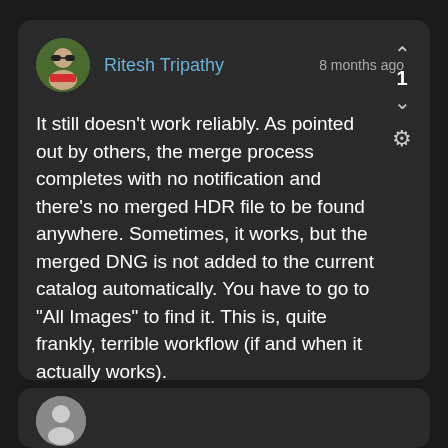[Figure (screenshot): User comment card on dark background. Shows avatar of Ritesh Tripathy, username, timestamp '8 months ago', upvote/downvote controls with count '1', and a gear icon.]
Ritesh Tripathy
8 months ago
It still doesn't work reliably. As pointed out by others, the merge process completes with no notification and there's no merged HDR file to be found anywhere. Sometimes, it works, but the merged DNG is not added to the current catalog automatically. You have to go to "All Images" to find it. This is, quite frankly, terrible workflow (if and when it actually works).